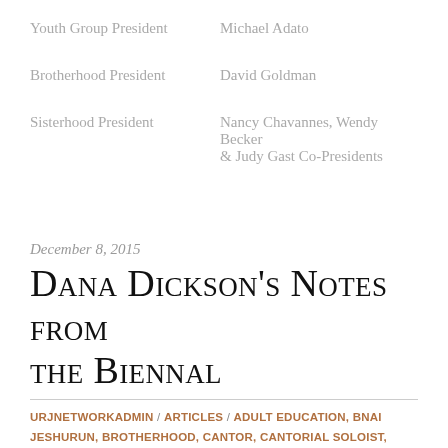Youth Group President — Michael Adato
Brotherhood President — David Goldman
Sisterhood President — Nancy Chavannes, Wendy Becker & Judy Gast Co-Presidents
December 8, 2015
Dana Dickson's Notes from the Biennal
URJNETWORKADMIN / ARTICLES / ADULT EDUCATION, BNAI JESHURUN, BROTHERHOOD, CANTOR, CANTORIAL SOLOIST, CONGREGATIONS, CONVERSION TO JUDAISM, CONVERT, DES MOINES, EDUCATION, GOD, IOWA, ISRAEL PROGRAMS, JEW, JEW BY CHOICE, JEWISH, JEWISH BELIEF, JEWISH BOOKS, JEWISH EDUCATION, JEWISH MUSIC, JUDAISM, OUTREACH, PRAYER, RABBI, REFORM CONGREGATION, REFORM JUDAISM, REFORM SYNAGOGUES, REFORM TEMPLE, SISTERHOOD, SPIRITUALITY, SYNAGOGUE, TEMPLE, TEMPLE